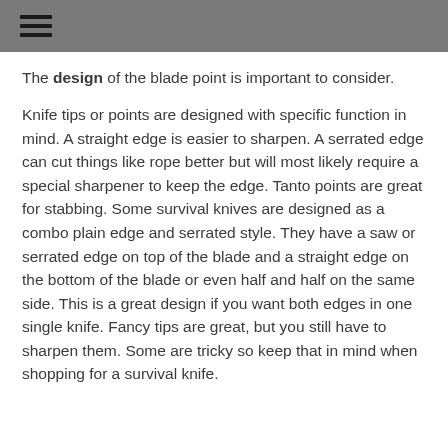☰
The design of the blade point is important to consider.
Knife tips or points are designed with specific function in mind. A straight edge is easier to sharpen. A serrated edge can cut things like rope better but will most likely require a special sharpener to keep the edge. Tanto points are great for stabbing. Some survival knives are designed as a combo plain edge and serrated style. They have a saw or serrated edge on top of the blade and a straight edge on the bottom of the blade or even half and half on the same side. This is a great design if you want both edges in one single knife. Fancy tips are great, but you still have to sharpen them. Some are tricky so keep that in mind when shopping for a survival knife.